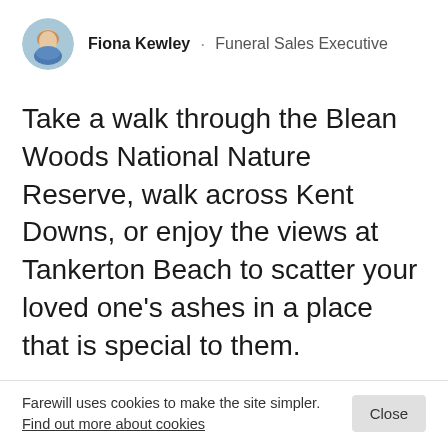Fiona Kewley · Funeral Sales Executive
Take a walk through the Blean Woods National Nature Reserve, walk across Kent Downs, or enjoy the views at Tankerton Beach to scatter your loved one's ashes in a place that is special to them.
CONTENTS
Farewill uses cookies to make the site simpler. Find out more about cookies